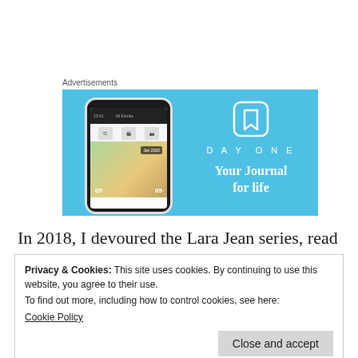Advertisements
[Figure (illustration): Day One app advertisement on a light blue background. Left side shows a smartphone screenshot of the Day One journaling app interface with photos and dates. Right side shows the Day One logo icon (bookmark shape), the text 'DAY ONE' in white with letter spacing, and the tagline 'Your Journal for life' in bold white text.]
In 2018, I devoured the Lara Jean series, read
Privacy & Cookies: This site uses cookies. By continuing to use this website, you agree to their use.
To find out more, including how to control cookies, see here:
Cookie Policy

Close and accept
All of these novels were by writers of colour and